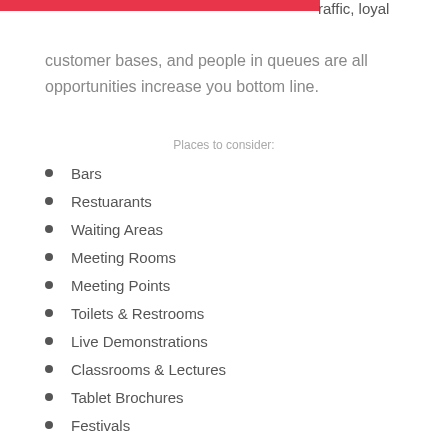raffic, loyal customer bases, and people in queues are all opportunities increase you bottom line.
Places to consider:
Bars
Restuarants
Waiting Areas
Meeting Rooms
Meeting Points
Toilets & Restrooms
Live Demonstrations
Classrooms & Lectures
Tablet Brochures
Festivals
Trade Shows